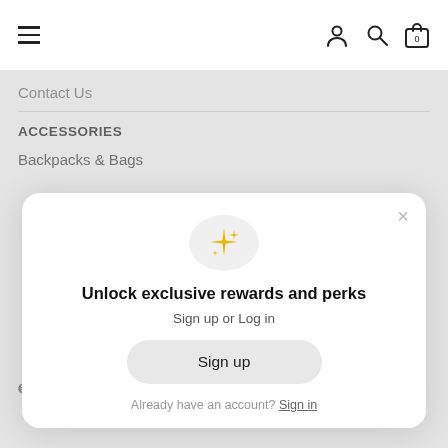[Figure (screenshot): Navigation bar with hamburger menu icon on the left and user, search, and cart (0) icons on the right]
Contact Us
ACCESSORIES
Backpacks & Bags
[Figure (infographic): Modal popup with sparkle icon, title 'Unlock exclusive rewards and perks', subtitle 'Sign up or Log in', a 'Sign up' button, and a footer 'Already have an account? Sign in']